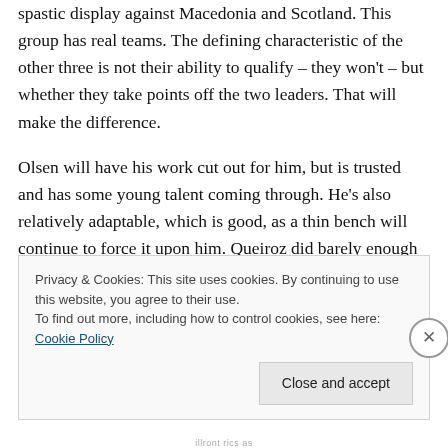spastic display against Macedonia and Scotland. This group has real teams. The defining characteristic of the other three is not their ability to qualify – they won't – but whether they take points off the two leaders. That will make the difference.
Olsen will have his work cut out for him, but is trusted and has some young talent coming through. He's also relatively adaptable, which is good, as a thin bench will continue to force it upon him. Queiroz did barely enough not to get fired with a team that I could get to the World
Privacy & Cookies: This site uses cookies. By continuing to use this website, you agree to their use.
To find out more, including how to control cookies, see here: Cookie Policy
Close and accept
illront rics as